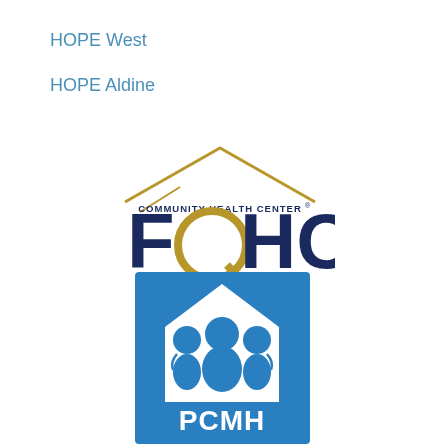HOPE West
HOPE Aldine
[Figure (logo): FQHC Community Health Center logo with gold roof-like chevron shape above dark navy letters FQHC with 'COMMUNITY HEALTH CENTER' text above and 'UALITY' below, with a gold circular Q]
[Figure (logo): PCMH Patient Centered Medical Home logo: blue square with white house/home icon containing silhouettes of medical professionals and patients, with PCMH text at bottom in white]